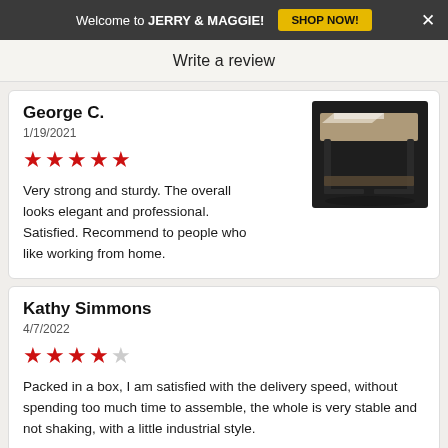Welcome to JERRY & MAGGIE! SHOP NOW! ×
Write a review
George C.
1/19/2021
★★★★★
Very strong and sturdy. The overall looks elegant and professional. Satisfied. Recommend to people who like working from home.
[Figure (photo): Photo of a dark metal-frame desk with wooden top surface, shown on dark background]
Kathy Simmons
4/7/2022
★★★★☆
Packed in a box, I am satisfied with the delivery speed, without spending too much time to assemble, the whole is very stable and not shaking, with a little industrial style.